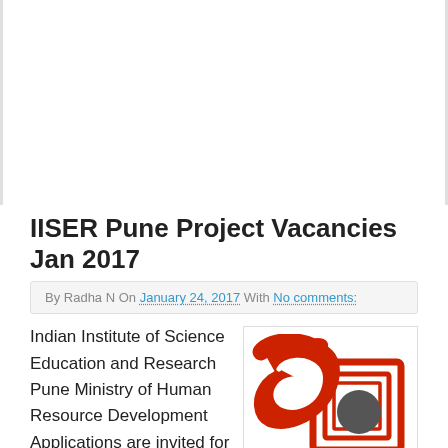IISER Pune Project Vacancies Jan 2017
By Radha N On January 24, 2017 With No comments:
Indian Institute of Science Education and Research Pune Ministry of Human Resource Development Applications are invited for various project vacancies in IISER Pune Advertisement No.04/2017Advertisement date
[Figure (logo): IISER Pune logo - red swoosh/bird shape with dark circle and square bracket design]